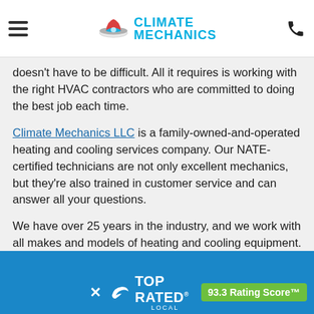[Figure (logo): Climate Mechanics LLC logo with hamburger menu icon on left, phone icon on right, logo with hat icon and cyan 'CLIMATE MECHANICS' text in center]
doesn't have to be difficult. All it requires is working with the right HVAC contractors who are committed to doing the best job each time.
Climate Mechanics LLC is a family-owned-and-operated heating and cooling services company. Our NATE-certified technicians are not only excellent mechanics, but they're also trained in customer service and can answer all your questions.
We have over 25 years in the industry, and we work with all makes and models of heating and cooling equipment. We have earned a reputation for doing heating and air conditioning repair right the first time.
[Figure (infographic): Top Rated Local badge banner in blue showing an X close button, Top Rated Local logo with bird icon, and a green '93.3 Rating Score™' badge]